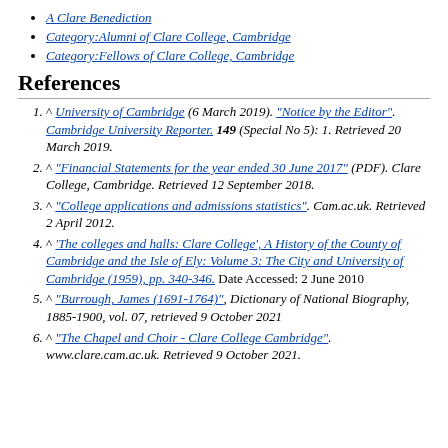A Clare Benediction
Category:Alumni of Clare College, Cambridge
Category:Fellows of Clare College, Cambridge
References
^ University of Cambridge (6 March 2019). "Notice by the Editor". Cambridge University Reporter. 149 (Special No 5): 1. Retrieved 20 March 2019.
^ "Financial Statements for the year ended 30 June 2017" (PDF). Clare College, Cambridge. Retrieved 12 September 2018.
^ "College applications and admissions statistics". Cam.ac.uk. Retrieved 2 April 2012.
^ 'The colleges and halls: Clare College', A History of the County of Cambridge and the Isle of Ely: Volume 3: The City and University of Cambridge (1959), pp. 340-346. Date Accessed: 2 June 2010
^ "Burrough, James (1691-1764)", Dictionary of National Biography, 1885-1900, vol. 07, retrieved 9 October 2021
^ "The Chapel and Choir - Clare College Cambridge". www.clare.cam.ac.uk. Retrieved 9 October 2021.